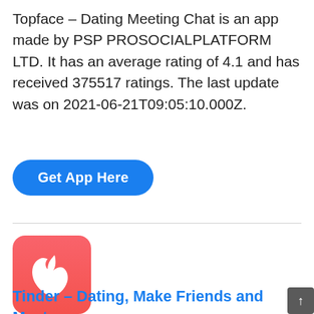Topface – Dating Meeting Chat is an app made by PSP PROSOCIALPLATFORM LTD. It has an average rating of 4.1 and has received 375517 ratings. The last update was on 2021-06-21T09:05:10.000Z.
[Figure (other): Blue rounded rectangle button with white bold text 'Get App Here']
[Figure (logo): Tinder app logo: pink-to-red gradient square with white flame/drop icon in center]
Tinder – Dating, Make Friends and Meet New People